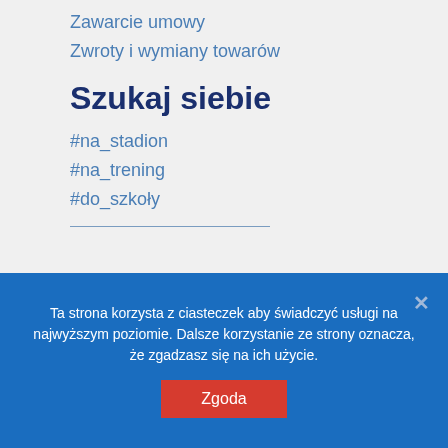Zawarcie umowy
Zwroty i wymiany towarów
Szukaj siebie
#na_stadion
#na_trening
#do_szkoły
Ta strona korzysta z ciasteczek aby świadczyć usługi na najwyższym poziomie. Dalsze korzystanie ze strony oznacza, że zgadzasz się na ich użycie.
Zgoda